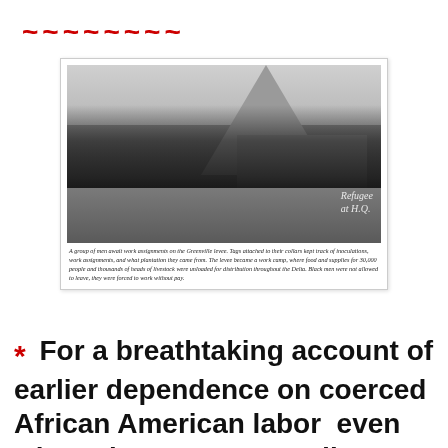~~~~~~~~
[Figure (photo): Black and white photograph of a group of men awaiting work assignments on the Greenville levee. A large tent is visible in the background. Text overlay reads 'Refugees at H.Q.' Men are sitting and lying on the ground.]
A group of men await work assignments on the Greenville levee. Tags attached to their collars kept track of inoculations, work assignments, and what plantation they came from. The levee became a work camp, where food and supplies for 30,000 people and thousands of heads of livestock were unloaded for distribution throughout the Delta. Black men were not allowed to leave, they were forced to work without pay.
* For a breathtaking account of earlier dependence on coerced African American labor even when slavery supposedly was over, see